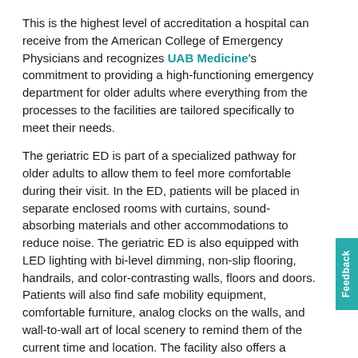This is the highest level of accreditation a hospital can receive from the American College of Emergency Physicians and recognizes UAB Medicine's commitment to providing a high-functioning emergency department for older adults where everything from the processes to the facilities are tailored specifically to meet their needs.
The geriatric ED is part of a specialized pathway for older adults to allow them to feel more comfortable during their visit. In the ED, patients will be placed in separate enclosed rooms with curtains, sound-absorbing materials and other accommodations to reduce noise. The geriatric ED is also equipped with LED lighting with bi-level dimming, non-slip flooring, handrails, and color-contrasting walls, floors and doors. Patients will also find safe mobility equipment, comfortable furniture, analog clocks on the walls, and wall-to-wall art of local scenery to remind them of the current time and location. The facility also offers a variety of resources such as delirium prevention toolkits to help reduce instances of confusion.
Upon arrival to the ED, older adults will undergo an Identification of Seniors at Risk assessment. The ISAR results assist in identifying patients who may need a more comprehensive assessment in the ED. Based on a patient's score, a geriatric emergency nursing intervention expert, or GENIE nurse, may come in and complete